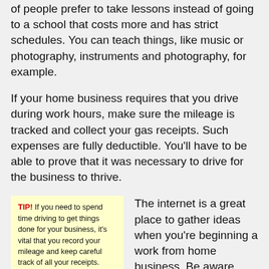of people prefer to take lessons instead of going to a school that costs more and has strict schedules. You can teach things, like music or photography, instruments and photography, for example.
If your home business requires that you drive during work hours, make sure the mileage is tracked and collect your gas receipts. Such expenses are fully deductible. You'll have to be able to prove that it was necessary to drive for the business to thrive.
TIP! If you need to spend time driving to get things done for your business, it's vital that you record your mileage and keep careful track of all your receipts. Such expenses are wholly deductible, no matter how long or short the trip.
The internet is a great place to gather ideas when you're beginning a work from home business. Be aware, though, of the online scams. There are a lot of places that will offer you basic information that can be found elsewhere for free, or information that is so basic that it is not